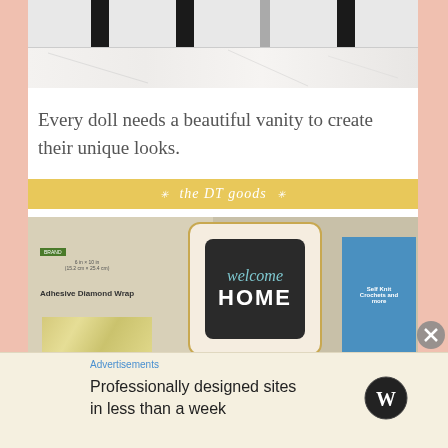[Figure (photo): Top portion of a doll vanity showing black legs on a white marble surface]
Every doll needs a beautiful vanity to create their unique looks.
[Figure (logo): Yellow banner with script text 'the DT goods' with decorative stars/asterisks]
[Figure (photo): Craft supplies including Adhesive Diamond Wrap package, a Welcome HOME chalkboard sign, and other craft items]
Advertisements
Professionally designed sites in less than a week